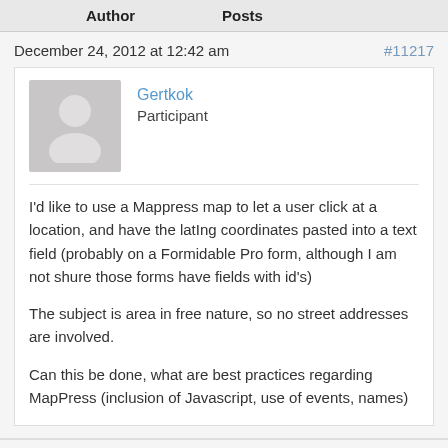Author    Posts
December 24, 2012 at 12:42 am    #11217
Gertkok
Participant
I'd like to use a Mappress map to let a user click at a location, and have the latIng coordinates pasted into a text field (probably on a Formidable Pro form, although I am not shure those forms have fields with id's)

The subject is area in free nature, so no street addresses are involved.

Can this be done, what are best practices regarding MapPress (inclusion of Javascript, use of events, names)
December 24, 2012 at 11:47 am    #11222